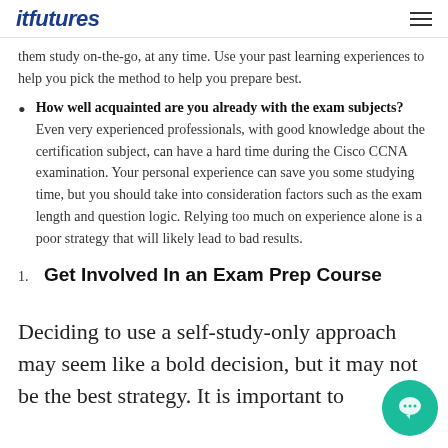itfutures
them study on-the-go, at any time. Use your past learning experiences to help you pick the method to help you prepare best.
How well acquainted are you already with the exam subjects? Even very experienced professionals, with good knowledge about the certification subject, can have a hard time during the Cisco CCNA examination. Your personal experience can save you some studying time, but you should take into consideration factors such as the exam length and question logic. Relying too much on experience alone is a poor strategy that will likely lead to bad results.
1. Get Involved In an Exam Prep Course
Deciding to use a self-study-only approach may seem like a bold decision, but it may not be the best strategy. It is important to